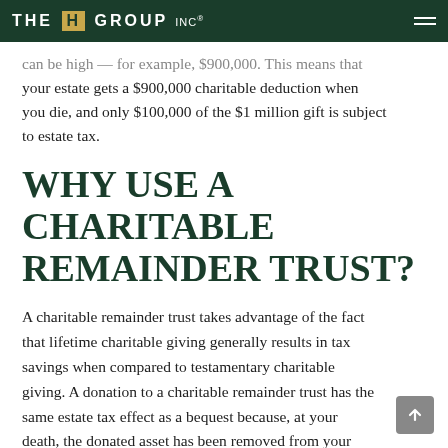THE H GROUP INC
can be high — for example, $900,000. This means that your estate gets a $900,000 charitable deduction when you die, and only $100,000 of the $1 million gift is subject to estate tax.
WHY USE A CHARITABLE REMAINDER TRUST?
A charitable remainder trust takes advantage of the fact that lifetime charitable giving generally results in tax savings when compared to testamentary charitable giving. A donation to a charitable remainder trust has the same estate tax effect as a bequest because, at your death, the donated asset has been removed from your estate. Be aware, however, that a portion of the donation is brought back into your estate through the charitable